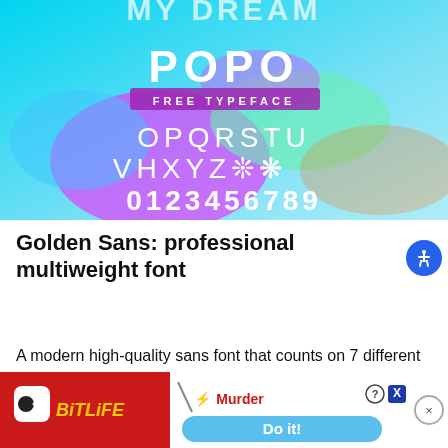[Figure (illustration): Colorful abstract promotional image for 'POPO Free Typeface' showing letters OPQRSTU, VHXYZ, and digits 0123456789 in white on a vibrant blue, pink, green watercolor background with the text 'POPO' and 'FREE TYPEFACE' in large display letters.]
Golden Sans: professional multiweight font
A modern high-quality sans font that counts on 7 different weights for its premium version, it supports multi-language features and quite a few glyphs, which
[Figure (screenshot): Advertisement banner for BitLife game showing red background with BitLife logo on left, and a white panel on right with 'Murder' text, 'Do it!' button in light blue, and help/close icons.]